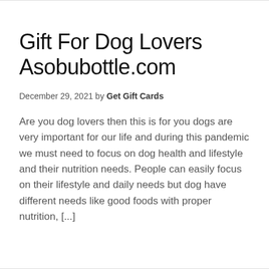Gift For Dog Lovers Asobubottle.com
December 29, 2021 by Get Gift Cards
Are you dog lovers then this is for you dogs are very important for our life and during this pandemic we must need to focus on dog health and lifestyle and their nutrition needs. People can easily focus on their lifestyle and daily needs but dog have different needs like good foods with proper nutrition, [...]